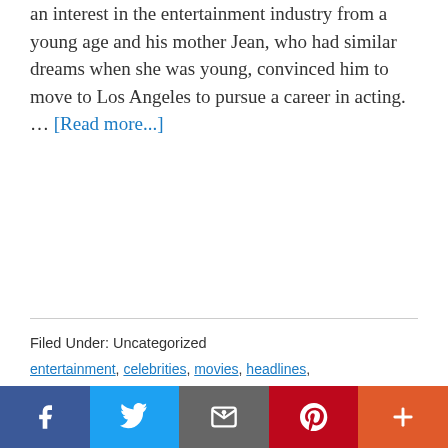an interest in the entertainment industry from a young age and his mother Jean, who had similar dreams when she was young, convinced him to move to Los Angeles to pursue a career in acting. … [Read more...]
Filed Under: Uncategorized
entertainment, celebrities, movies, headlines, ctp_video, michael clarke duncan, the green mile, michael clarke duncan death, michael clarke duncan omarosa, omarosa..., Actor Michael Shannon, actor michael douglas, actor michael, Actor Michael Biehn, michael clark, Michael Jackson Estate, actor death,
[Figure (other): Social sharing bar with Facebook, Twitter, Email, Pinterest, and More buttons]